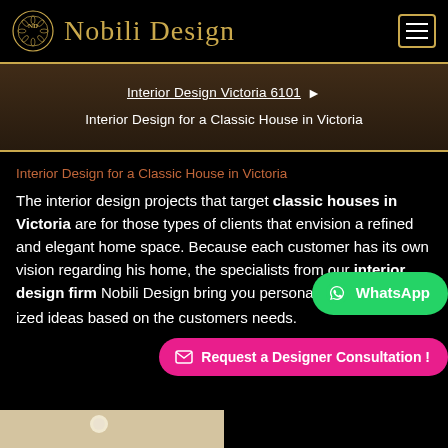Nobili Design
Interior Design Victoria 6101 ▶ Interior Design for a Classic House in Victoria
Interior Design for a Classic House in Victoria
The interior design projects that target classic houses in Victoria are for those types of clients that envision a refined and elegant home space. Because each customer has its own vision regarding his home, the specialists from our interior design firm Nobili Design bring you personalized ideas based on the customers needs.
[Figure (screenshot): WhatsApp contact button (green rounded pill)]
[Figure (screenshot): Request a Designer Consultation button (pink/magenta rounded pill)]
[Figure (photo): Partial interior room photo at bottom of page]